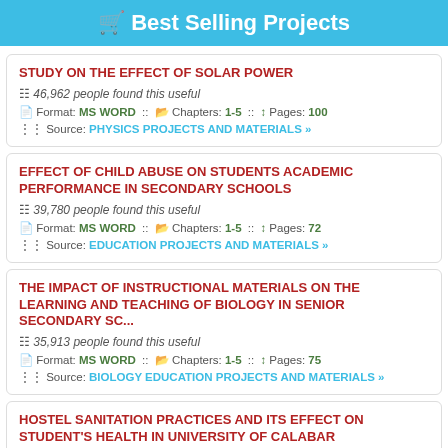🛒 Best Selling Projects
STUDY ON THE EFFECT OF SOLAR POWER
46,962 people found this useful
Format: MS WORD :: Chapters: 1-5 :: Pages: 100
Source: PHYSICS PROJECTS AND MATERIALS »
EFFECT OF CHILD ABUSE ON STUDENTS ACADEMIC PERFORMANCE IN SECONDARY SCHOOLS
39,780 people found this useful
Format: MS WORD :: Chapters: 1-5 :: Pages: 72
Source: EDUCATION PROJECTS AND MATERIALS »
THE IMPACT OF INSTRUCTIONAL MATERIALS ON THE LEARNING AND TEACHING OF BIOLOGY IN SENIOR SECONDARY SC...
35,913 people found this useful
Format: MS WORD :: Chapters: 1-5 :: Pages: 75
Source: BIOLOGY EDUCATION PROJECTS AND MATERIALS »
HOSTEL SANITATION PRACTICES AND ITS EFFECT ON STUDENT'S HEALTH IN UNIVERSITY OF CALABAR